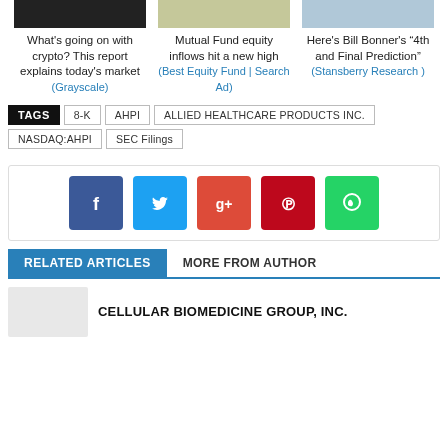What's going on with crypto? This report explains today's market (Grayscale)
Mutual Fund equity inflows hit a new high (Best Equity Fund | Search Ad)
Here's Bill Bonner's “4th and Final Prediction” (Stansberry Research )
TAGS  8-K  AHPI  ALLIED HEALTHCARE PRODUCTS INC.  NASDAQ:AHPI  SEC Filings
[Figure (infographic): Social share buttons: Facebook, Twitter, Google+, Pinterest, WhatsApp]
RELATED ARTICLES   MORE FROM AUTHOR
CELLULAR BIOMEDICINE GROUP, INC.